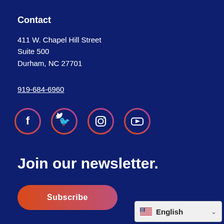Contact
411 W. Chapel Hill Street
Suite 500
Durham, NC 27701
919-684-6960
[Figure (infographic): Four social media icons in circles with gradient borders: Facebook (f), Twitter (bird), Instagram (camera), YouTube (play button)]
Join our newsletter.
Subscribe
English